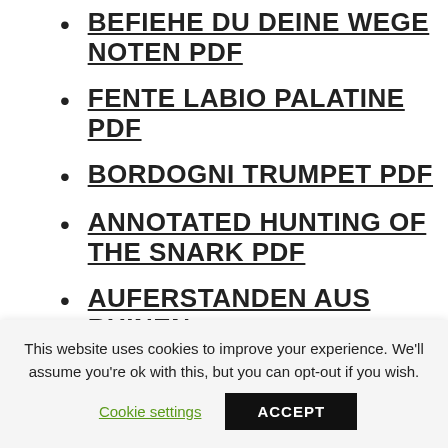BEFIEHE DU DEINE WEGE NOTEN PDF
FENTE LABIO PALATINE PDF
BORDOGNI TRUMPET PDF
ANNOTATED HUNTING OF THE SNARK PDF
AUFERSTANDEN AUS RUINEN NOTEN PDF
BUILDER EUROKODY PDF
This website uses cookies to improve your experience. We'll assume you're ok with this, but you can opt-out if you wish.
Cookie settings
ACCEPT